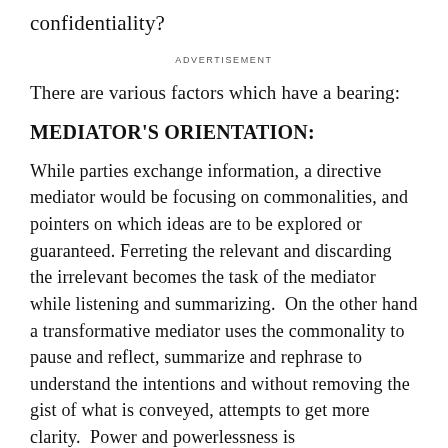confidentiality?
ADVERTISEMENT
There are various factors which have a bearing:
MEDIATOR'S ORIENTATION:
While parties exchange information, a directive mediator would be focusing on commonalities, and pointers on which ideas are to be explored or guaranteed. Ferreting the relevant and discarding the irrelevant becomes the task of the mediator while listening and summarizing.  On the other hand a transformative mediator uses the commonality to pause and reflect, summarize and rephrase to understand the intentions and without removing the gist of what is conveyed, attempts to get more clarity.  Power and powerlessness is